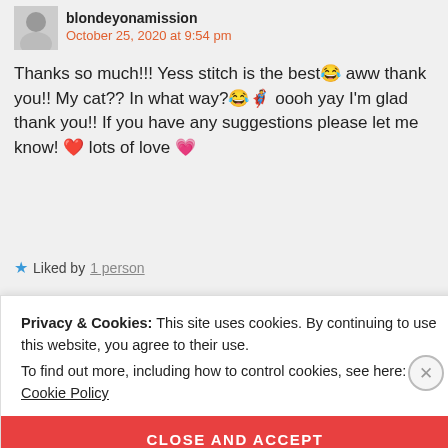[Figure (photo): Small avatar/profile photo thumbnail]
blondeyonamission
October 25, 2020 at 9:54 pm
Thanks so much!!! Yess stitch is the best😂 aww thank you!! My cat?? In what way?😂🐵 oooh yay I'm glad thank you!! If you have any suggestions please let me know! ❤️ lots of love 💕
★ Liked by 1 person
Privacy & Cookies: This site uses cookies. By continuing to use this website, you agree to their use.
To find out more, including how to control cookies, see here:
Cookie Policy
CLOSE AND ACCEPT